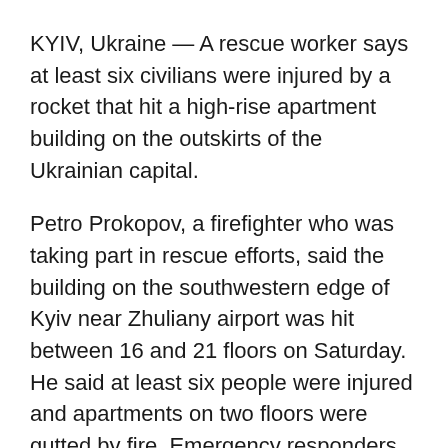KYIV, Ukraine — A rescue worker says at least six civilians were injured by a rocket that hit a high-rise apartment building on the outskirts of the Ukrainian capital.
Petro Prokopov, a firefighter who was taking part in rescue efforts, said the building on the southwestern edge of Kyiv near Zhuliany airport was hit between 16 and 21 floors on Saturday. He said at least six people were injured and apartments on two floors were gutted by fire. Emergency responders have evacuated 80 people.
Kyiv's Mayor Vitali Klitschko posted an image showing a gaping hole on one side of the apartment building.
Separately, Ukraine's Infrastructure Ministry said a Russian missile was shot down before dawn Saturday as it headed for the dam of the sprawling water reservoir that serves Kyiv. "If the dam is destroyed, the flooding will cause